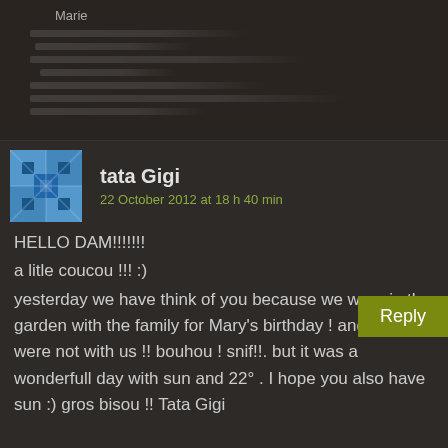Marie
tata Gigi
22 October 2012 at 18 h 40 min
HELLO DAM!!!!!!!
a litle coucou !!! :)
yesterday we have think of you because we were in the garden with the family for Mary's birthday ! and you were not with us !! bouhou ! snif!!. but it was a wonderfull day with sun and 22° . I hope you also have sun :) gros bisou !! Tata Gigi